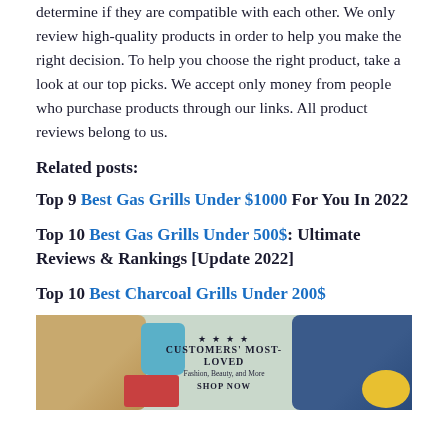determine if they are compatible with each other. We only review high-quality products in order to help you make the right decision. To help you choose the right product, take a look at our top picks. We accept only money from people who purchase products through our links. All product reviews belong to us.
Related posts:
Top 9 Best Gas Grills Under $1000 For You In 2022
Top 10 Best Gas Grills Under 500$: Ultimate Reviews & Rankings [Update 2022]
Top 10 Best Charcoal Grills Under 200$
[Figure (photo): Advertisement banner showing clothing items including a spotted top, blue appliance, red tray, jeans, and a yellow hat on a green-gray background with text CUSTOMERS' MOST-LOVED Fashion, Beauty, and More SHOP NOW with stars above]